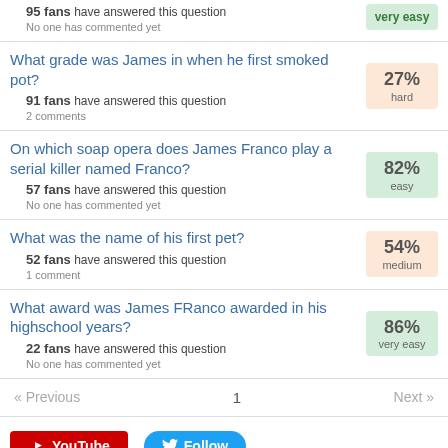95 fans have answered this question
No one has commented yet
What grade was James in when he first smoked pot?
91 fans have answered this question
2 comments
On which soap opera does James Franco play a serial killer named Franco?
57 fans have answered this question
No one has commented yet
What was the name of his first pet?
52 fans have answered this question
1 comment
What award was James FRanco awarded in his highschool years?
22 fans have answered this question
No one has commented yet
« Previous   1   Next »
[Figure (logo): YouTube button (red)]
[Figure (logo): Twitter Follow button (blue)]